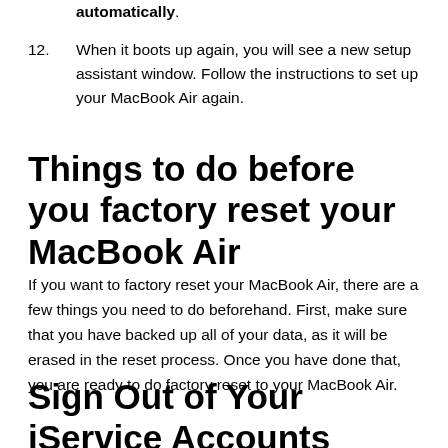automatically.
12. When it boots up again, you will see a new setup assistant window. Follow the instructions to set up your MacBook Air again.
Things to do before you factory reset your MacBook Air
If you want to factory reset your MacBook Air, there are a few things you need to do beforehand. First, make sure that you have backed up all of your data, as it will be erased in the reset process. Once you have done that, you are ready to do factory reset to your MacBook Air.
Sign Out of Your iService Accounts